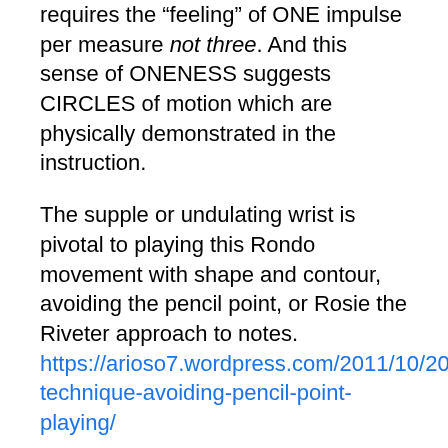requires the “feeling” of ONE impulse per measure not three. And this sense of ONENESS suggests CIRCLES of motion which are physically demonstrated in the instruction.
The supple or undulating wrist is pivotal to playing this Rondo movement with shape and contour, avoiding the pencil point, or Rosie the Riveter approach to notes. https://arioso7.wordpress.com/2011/10/20/piano-technique-avoiding-pencil-point-playing/
In this regard, I offer preliminaries to loosen up the wrist, and suggest rhythms that I enlist to develop streams of 16th notes.
There’s a slow motion frame inserted to graphically illustrate the rolling wrist motion that is so necessary to express this Classical era music with beauty and grace